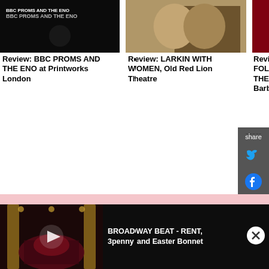[Figure (photo): Thumbnail for BBC Proms and the ENO at Printworks London - dark concert image with text overlay]
Review: BBC PROMS AND THE ENO at Printworks London
[Figure (photo): Thumbnail for Larkin with Women - two people in a library]
Review: LARKIN WITH WOMEN, Old Red Lion Theatre
[Figure (photo): Thumbnail for Venus Cupid Folly & Time - red dramatic theatrical image]
Review: VENUS, CUPID, FOLLY, & TIME: 30 YEARS OF THE DIVINE COMEDY, The Barbican Centre
Get Broadway Emails
Get the latest news, discounts & more.
E-mail address
Sign Up
RECOMMENDED FOR YOU
[Figure (screenshot): Video ad thumbnail showing theater interior with play button]
BROADWAY BEAT - RENT, 3penny and Easter Bonnet